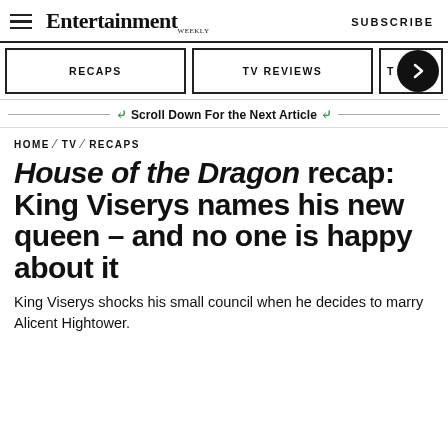Entertainment Weekly  SUBSCRIBE
[Figure (screenshot): Navigation tab bar with RECAPS, TV REVIEWS, and a right-arrow circle button]
Scroll Down For the Next Article
HOME / TV / RECAPS
House of the Dragon recap: King Viserys names his new queen – and no one is happy about it
King Viserys shocks his small council when he decides to marry Alicent Hightower.